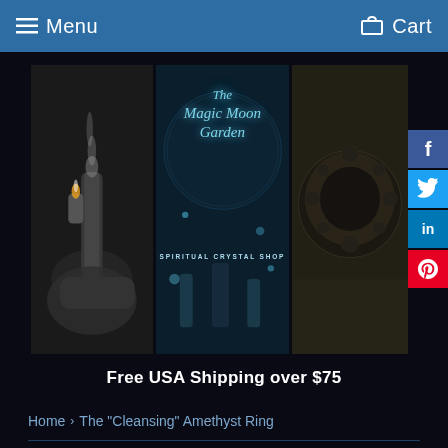Menu   Cart
[Figure (screenshot): E-commerce shop banner for The Magic Moon Garden Spiritual Crystal Shop, showing three panels: left panel with black and white photo of burning sage stick, center panel with teal/blue store logo text 'The Magic Moon Garden - SPIRITUAL CRYSTAL SHOP', right panel with dark image of an ornate ring. Social sharing buttons (Facebook, Twitter, LinkedIn, Pinterest) on the right side.]
Free USA Shipping over $75
Home › The "Cleansing" Amethyst Ring